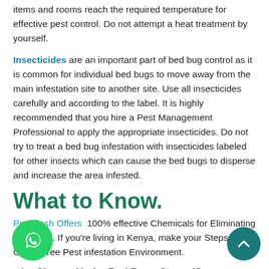items and rooms reach the required temperature for effective pest control. Do not attempt a heat treatment by yourself.
Insecticides are an important part of bed bug control as it is common for individual bed bugs to move away from the main infestation site to another site. Use all insecticides carefully and according to the label. It is highly recommended that you hire a Pest Management Professional to apply the appropriate insecticides. Do not try to treat a bed bug infestation with insecticides labeled for other insects which can cause the bed bugs to disperse and increase the area infested.
What to Know.
Pest flash Offers  100% effective Chemicals for Eliminating Bed bugs. If you're living in Kenya, make your Steps and Get A  Free Pest infestation Environment.
Why Choose Us for Bed Bugs Control?
The answer is quite simpler than you would have expected. Yes, it is. When you try us, It's hard and difficult for you to